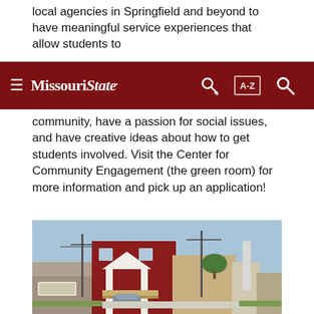local agencies in Springfield and beyond to have meaningful service experiences that allow students to
Missouri State [navigation bar with hamburger menu, key icon, A-Z index, and search icon]
community, have a passion for social issues, and have creative ideas about how to get students involved. Visit the Center for Community Engagement (the green room) for more information and pick up an application!
To Top
[Figure (photo): Exterior photograph of a two-story red brick building with white columns and a covered porch/deck, street view with utility poles and neighboring buildings visible]